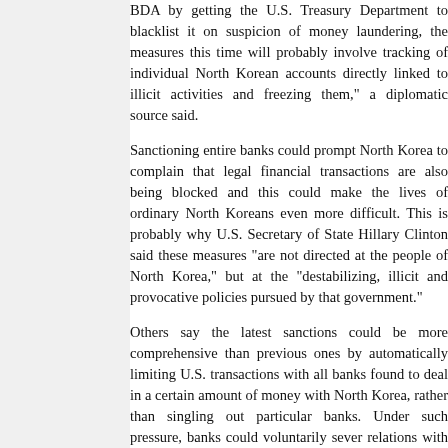BDA by getting the U.S. Treasury Department to blacklist it on suspicion of money laundering, the measures this time will probably involve tracking of individual North Korean accounts directly linked to illicit activities and freezing them," a diplomatic source said.
Sanctioning entire banks could prompt North Korea to complain that legal financial transactions are also being blocked and this could make the lives of ordinary North Koreans even more difficult. This is probably why U.S. Secretary of State Hillary Clinton said these measures "are not directed at the people of North Korea," but at the "destabilizing, illicit and provocative policies pursued by that government."
Others say the latest sanctions could be more comprehensive than previous ones by automatically limiting U.S. transactions with all banks found to deal in a certain amount of money with North Korea, rather than singling out particular banks. Under such pressure, banks could voluntarily sever relations with North Korean businesses or individuals to avoid being blacklisted.
The South Korean government has apparently notified the U.S. of between 10 to 20 North Korean bank accounts under suspicion of being involved in illicit deals. There are fears that massive Chinese aid to the North could render the U.S. sanctions useless, but judging from the vehement protests lodged by North Korea when its accounts at BDA were frozen, experts say financial sanctions are an effective means of pressure.
And according to a different Choson Ilbo story: